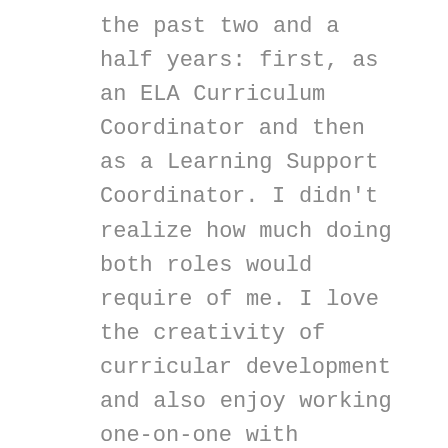the past two and a half years: first, as an ELA Curriculum Coordinator and then as a Learning Support Coordinator. I didn't realize how much doing both roles would require of me. I love the creativity of curricular development and also enjoy working one-on-one with struggling students.  I like the challenge of finding the right strategies to support each learner.  Next school year, I will be solely engaged in learning support, and I have found myself feeling ebullient at the prospect. Though I will miss providing reading and writing curricular support, the whole reason I went into teaching forty-three years ago was to help kids who found school difficult.  I love working with kids to find pathways to learning, to make reading and writing playful, to make school meaningful and fun again.